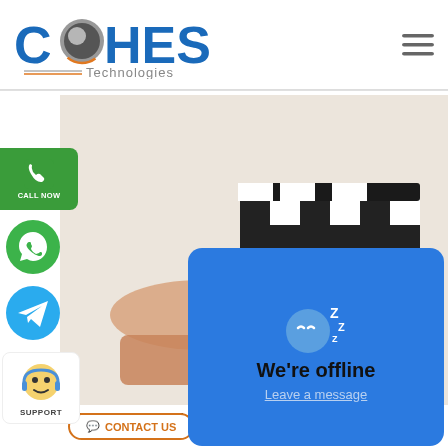[Figure (logo): Cohesive Technologies logo with blue text and orange/grey globe icon, 'Technologies' subtitle]
[Figure (screenshot): Website screenshot showing a hero photo of hands holding a film clapperboard, social media contact icons (Call Now, WhatsApp, Telegram, Support) on the left side, a blue 'We're offline' popup chat widget, 'Media & Retail' text, and a 'Contact Us' button at the bottom]